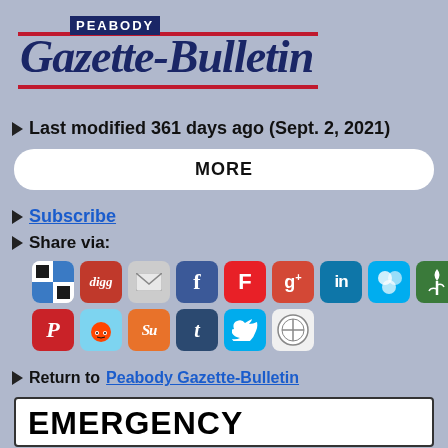[Figure (logo): Peabody Gazette-Bulletin newspaper logo with red lines, dark blue text and blackletter style masthead]
Last modified 361 days ago (Sept. 2, 2021)
MORE
Subscribe
Share via:
[Figure (infographic): Social media sharing icons: Windows Live Writer, Digg, Email, Facebook, Flipboard, Google+, LinkedIn, Windows Live, Newsvine (top row); Pinterest, Reddit, StumbleUpon, Tumblr, Twitter, WordPress (bottom row)]
Return to Peabody Gazette-Bulletin
EMERGENCY